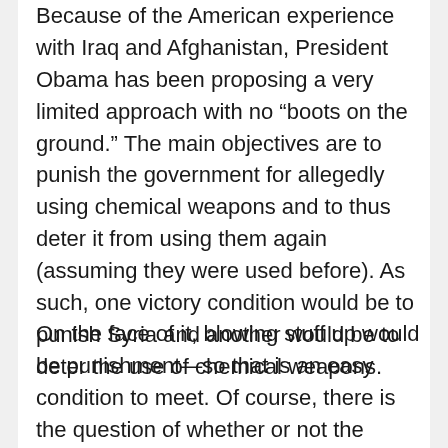Because of the American experience with Iraq and Afghanistan, President Obama has been proposing a very limited approach with no “boots on the ground.” The main objectives are to punish the government for allegedly using chemical weapons and to thus deter it from using them again (assuming they were used before). As such, one victory condition would be to punish Syria and another would be to deter the use of chemical weapons.
On the face of it, blowing stuff up would be punishment—so that is an easy condition to meet. Of course, there is the question of whether or not the punishment would be just. Deterrence is rather more difficult to achieve.